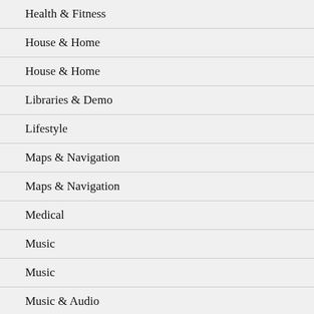Health & Fitness
House & Home
House & Home
Libraries & Demo
Lifestyle
Maps & Navigation
Maps & Navigation
Medical
Music
Music
Music & Audio